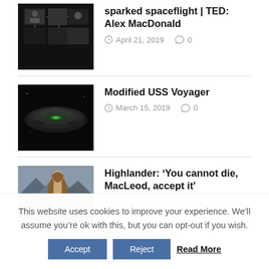sparked spaceflight | TED: Alex MacDonald
April 21, 2019  0
Modified USS Voyager
March 15, 2019  0
Highlander: ‘You cannot die, MacLeod, accept it’
This website uses cookies to improve your experience. We’ll assume you’re ok with this, but you can opt-out if you wish.
Accept  Reject  Read More